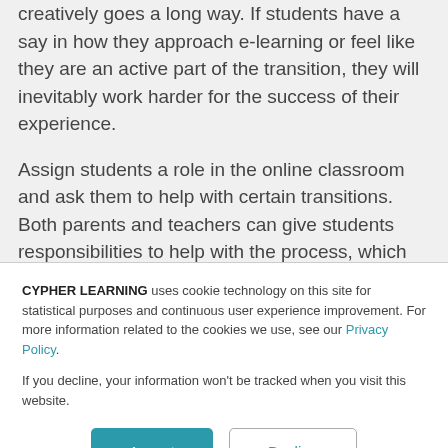creatively goes a long way. If students have a say in how they approach e-learning or feel like they are an active part of the transition, they will inevitably work harder for the success of their experience.
Assign students a role in the online classroom and ask them to help with certain transitions. Both parents and teachers can give students responsibilities to help with the process, which
CYPHER LEARNING uses cookie technology on this site for statistical purposes and continuous user experience improvement. For more information related to the cookies we use, see our Privacy Policy.
If you decline, your information won’t be tracked when you visit this website.